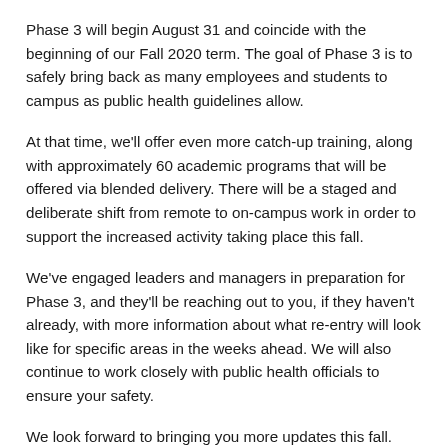Phase 3 will begin August 31 and coincide with the beginning of our Fall 2020 term. The goal of Phase 3 is to safely bring back as many employees and students to campus as public health guidelines allow.
At that time, we'll offer even more catch-up training, along with approximately 60 academic programs that will be offered via blended delivery. There will be a staged and deliberate shift from remote to on-campus work in order to support the increased activity taking place this fall.
We've engaged leaders and managers in preparation for Phase 3, and they'll be reaching out to you, if they haven't already, with more information about what re-entry will look like for specific areas in the weeks ahead. We will also continue to work closely with public health officials to ensure your safety.
We look forward to bringing you more updates this fall.